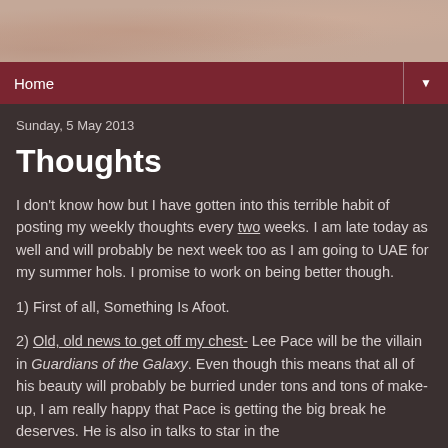Home
Sunday, 5 May 2013
Thoughts
I don't know how but I have gotten into this terrible habit of posting my weekly thoughts every two weeks. I am late today as well and will probably be next week too as I am going to UAE for my summer hols. I promise to work on being better though.
1) First of all, Something Is Afoot.
2) Old, old news to get off my chest- Lee Pace will be the villain in Guardians of the Galaxy. Even though this means that all of his beauty will probably be burried under tons and tons of make-up, I am really happy that Pace is getting the big break he deserves. He is also in talks to star in the